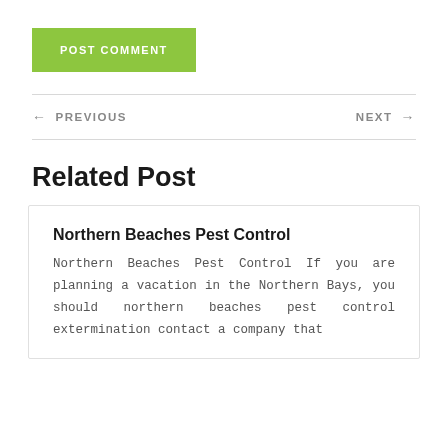POST COMMENT
← PREVIOUS
NEXT →
Related Post
Northern Beaches Pest Control
Northern Beaches Pest Control If you are planning a vacation in the Northern Bays, you should northern beaches pest control extermination contact a company that